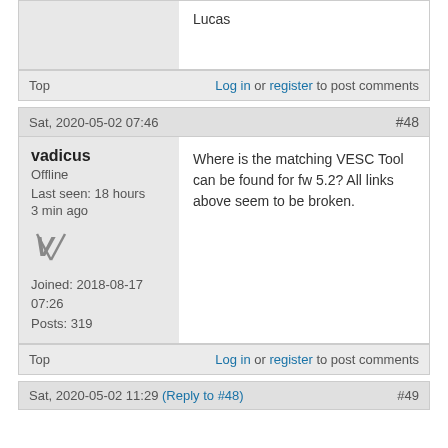Lucas
Top   Log in or register to post comments
Sat, 2020-05-02 07:46   #48
vadicus
Offline
Last seen: 18 hours 3 min ago
Joined: 2018-08-17 07:26
Posts: 319
Where is the matching VESC Tool can be found for fw 5.2? All links above seem to be broken.
Top   Log in or register to post comments
Sat, 2020-05-02 11:29  (Reply to #48)   #49